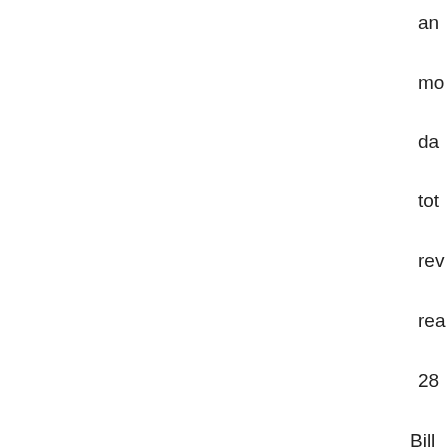an
mo
da
tot
rev
rea
28
Bill
dol
Th
is
no
big
tha
the
'tot
PC